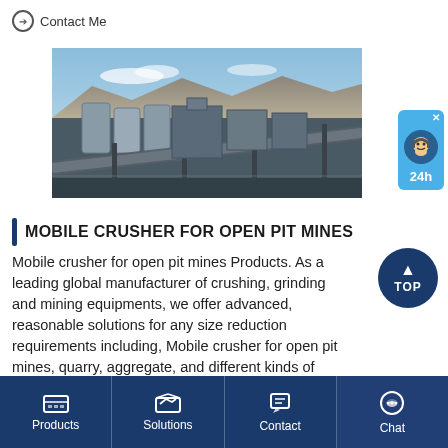➔ Contact Me
[Figure (photo): Aerial view of a large open-pit mine industrial facility with conveyor belts, storage tanks, and processing equipment set against a desert mountain backdrop]
[Figure (other): Live chat support widget showing a cartoon avatar with '24h' text on a blue background with an X close button]
MOBILE CRUSHER FOR OPEN PIT MINES
Mobile crusher for open pit mines Products. As a leading global manufacturer of crushing, grinding and mining equipments, we offer advanced, reasonable solutions for any size reduction requirements including, Mobile crusher for open pit mines, quarry, aggregate, and different kinds of
[Figure (other): Dark blue circular TOP button with upward arrow]
Products | Solutions | Contact | Chat